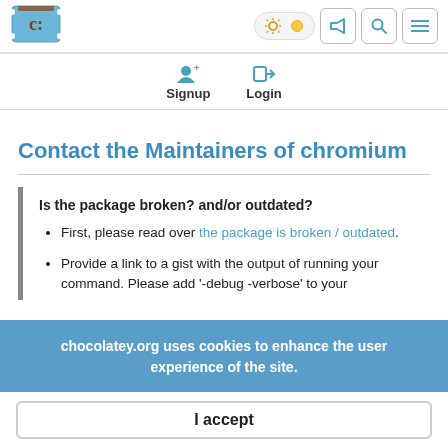[Figure (logo): Chocolatey logo - blue ticket with C: text]
Navigation bar with theme toggle, announcement, search, and menu icons
Signup  Login
Contact the Maintainers of chromium
Is the package broken? and/or outdated?
First, please read over the package is broken / outdated.
Provide a link to a gist with the output of running your command. Please add '-debug -verbose' to your
chocolatey.org uses cookies to enhance the user experience of the site.
I accept